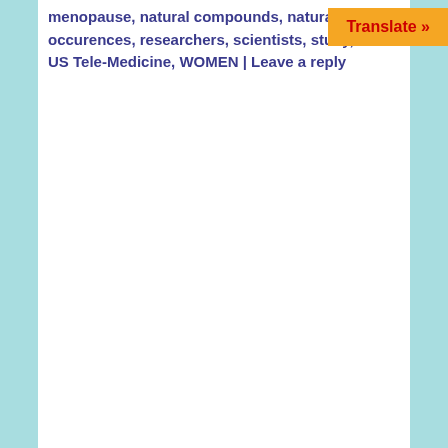menopause, natural compounds, natural he occurences, researchers, scientists, study, US Tele-Medicine, WOMEN | Leave a reply
[Figure (other): Orange Translate button with red bold text 'Translate »']